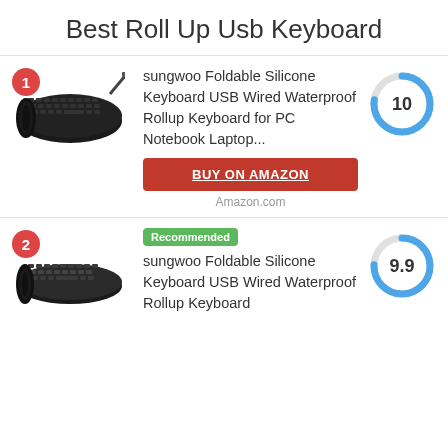Best Roll Up Usb Keyboard
[Figure (other): Rank 1 product card with keyboard photo, product title, buy button, and donut score chart showing 10]
[Figure (other): Rank 2 product card with keyboard photo, Recommended badge, product title, and donut score chart showing 9.9]